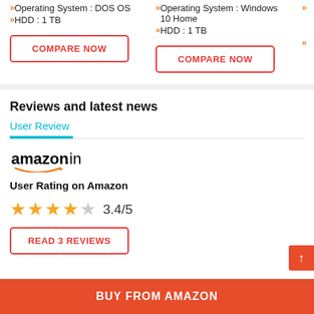Operating System : DOS OS
HDD : 1 TB
Operating System : Windows 10 Home
HDD : 1 TB
COMPARE NOW
COMPARE NOW
Reviews and latest news
User Review
[Figure (logo): amazon.in logo with smile]
User Rating on Amazon
3.4/5
READ 3 REVIEWS
BUY FROM AMAZON